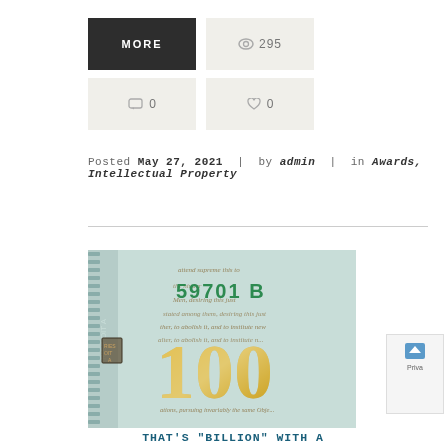[Figure (screenshot): MORE button (dark), views counter showing 295, comments counter showing 0, likes counter showing 0 — blog post metadata buttons]
Posted May 27, 2021 | by admin | in Awards, Intellectual Property
[Figure (photo): Close-up photograph of a US $100 bill showing the number 100 in gold, serial number 59701B in green, and cursive script text from the Constitution]
THAT'S "BILLION" WITH A